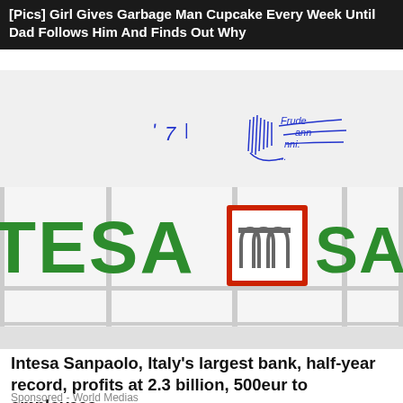[Pics] Girl Gives Garbage Man Cupcake Every Week Until Dad Follows Him And Finds Out Why
[Figure (photo): Photo of Intesa Sanpaolo bank branch exterior sign showing green letters 'TESA' and 'SANPAOLO' with the red-framed logo in the center, on a white building facade. Handwritten graffiti visible on the wall above.]
Intesa Sanpaolo, Italy's largest bank, half-year record, profits at 2.3 billion, 500eur to employees
Sponsored - World Medias